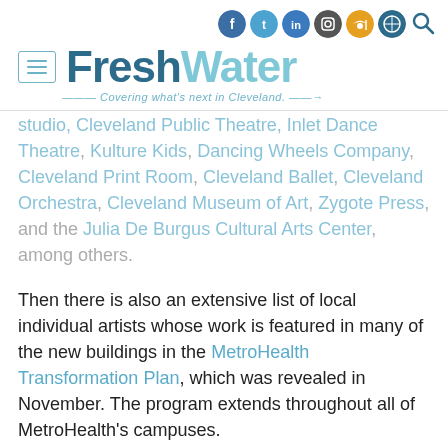FreshWater — Covering what's next in Cleveland.
studio, Cleveland Public Theatre, Inlet Dance Theatre, Kulture Kids, Dancing Wheels Company, Cleveland Print Room, Cleveland Ballet, Cleveland Orchestra, Cleveland Museum of Art, Zygote Press, and the Julia De Burgus Cultural Arts Center, among others.
Then there is also an extensive list of local individual artists whose work is featured in many of the new buildings in the MetroHealth Transformation Plan, which was revealed in November. The program extends throughout all of MetroHealth's campuses.